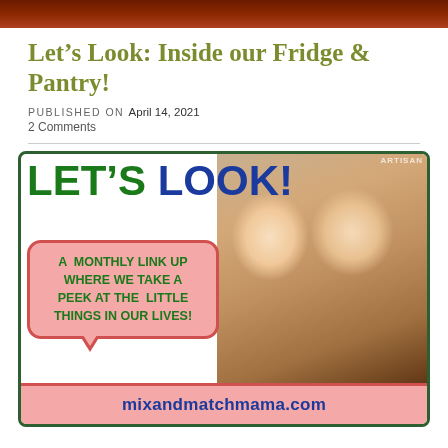[Figure (photo): Top cropped photo showing reddish-brown wooden surface or background]
Let's Look: Inside our Fridge & Pantry!
PUBLISHED ON April 14, 2021
2 Comments
[Figure (infographic): Let's Look promotional banner with two smiling blonde women on right, large bold blue text reading LET'S LOOK!, speech bubble with green text: A MONTHLY LINK UP WHERE WE TAKE A PEEK AT THE LITTLE THINGS IN OUR LIVES!, and bottom pink banner with blue text: mixandmatchmama.com]